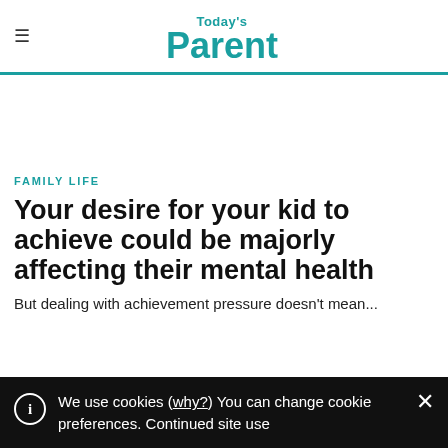Today's Parent
FAMILY LIFE
Your desire for your kid to achieve could be majorly affecting their mental health
But dealing with achievement pressure doesn't mean...
We use cookies (why?) You can change cookie preferences. Continued site use